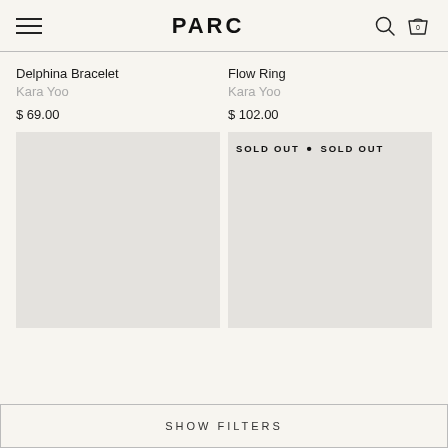PARC
Delphina Bracelet
Kara Yoo
$ 69.00
Flow Ring
Kara Yoo
$ 102.00
[Figure (photo): Empty product image placeholder (grey rectangle) for Delphina Bracelet]
[Figure (photo): Product image placeholder (grey rectangle) for Flow Ring with SOLD OUT banner]
SHOW FILTERS